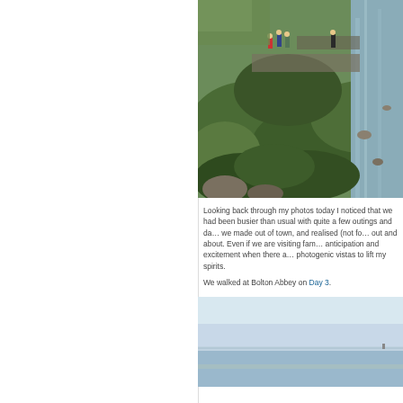[Figure (photo): Outdoor landscape photo showing mossy green rocks beside a rushing stream or river, with several people visible in the background on the rocky terrain. Lush green vegetation covers the boulders.]
Looking back through my photos today I noticed that we had been busier than usual with quite a few outings and day trips, as well as the journeys we made out of town, and realised (not for the first time) how much I love being out and about. Even if we are visiting family it always adds a sense of anticipation and excitement when there are interesting, photogenic vistas to lift my spirits.
We walked at Bolton Abbey on Day 3.
[Figure (photo): Coastal or estuary scene with a wide expanse of water and flat shoreline under a pale blue overcast sky. Very flat, calm scene with minimal detail.]